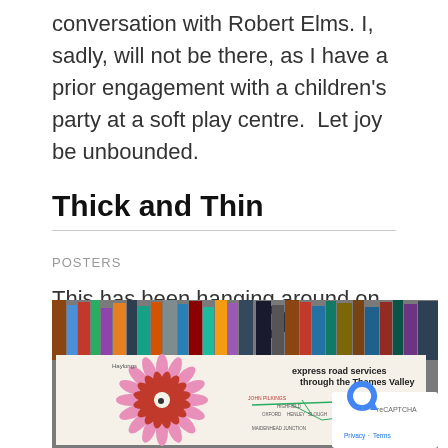conversation with Robert Elms. I, sadly, will not be there, as I have a prior engagement with a children's party at a soft play centre.  Let joy be unbounded.
Thick and Thin
POSTERS
This has been hanging around on the bookshelves for a bit, waiting to find a home.
[Figure (photo): Photo of a vintage poster for 'express road services through the Thames Valley' displayed in front of bookshelves. The poster features a large stylized pink and red flower design on the left and a route map on the right. A reCAPTCHA logo badge is visible in the bottom right corner.]